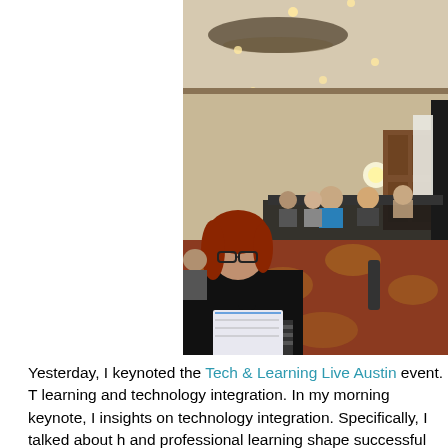[Figure (photo): A woman with red hair holding a notebook and gesturing with her hand while seated in a conference room. Other attendees are visible in the background seated around tables. The room has decorative carpet, warm lighting, and a projection screen on the right side.]
Yesterday, I keynoted the Tech & Learning Live Austin event. T learning and technology integration. In my morning keynote, I insights on technology integration. Specifically, I talked about h and professional learning shape successful technology integra